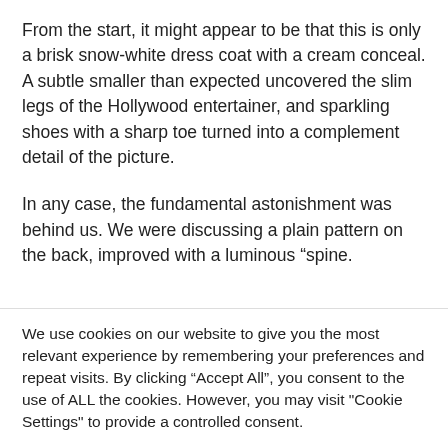From the start, it might appear to be that this is only a brisk snow-white dress coat with a cream conceal. A subtle smaller than expected uncovered the slim legs of the Hollywood entertainer, and sparkling shoes with a sharp toe turned into a complement detail of the picture.
In any case, the fundamental astonishment was behind us. We were discussing a plain pattern on the back, improved with a luminous “spine.
We use cookies on our website to give you the most relevant experience by remembering your preferences and repeat visits. By clicking “Accept All”, you consent to the use of ALL the cookies. However, you may visit "Cookie Settings" to provide a controlled consent.